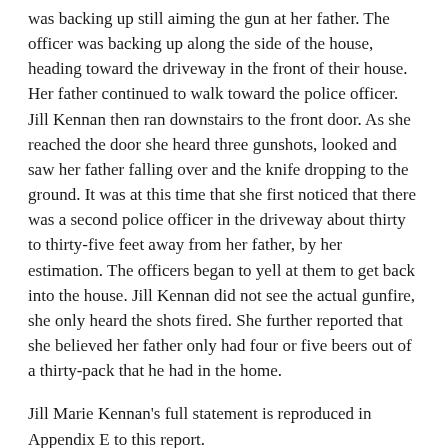was backing up still aiming the gun at her father. The officer was backing up along the side of the house, heading toward the driveway in the front of their house. Her father continued to walk toward the police officer. Jill Kennan then ran downstairs to the front door. As she reached the door she heard three gunshots, looked and saw her father falling over and the knife dropping to the ground. It was at this time that she first noticed that there was a second police officer in the driveway about thirty to thirty-five feet away from her father, by her estimation. The officers began to yell at them to get back into the house. Jill Kennan did not see the actual gunfire, she only heard the shots fired. She further reported that she believed her father only had four or five beers out of a thirty-pack that he had in the home.
Jill Marie Kennan's full statement is reproduced in Appendix E to this report.